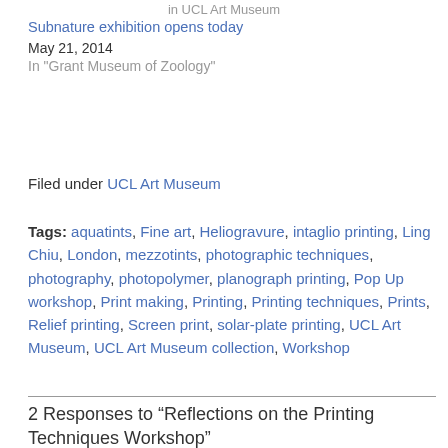in UCL Art Museum
Subnature exhibition opens today
May 21, 2014
In "Grant Museum of Zoology"
Filed under UCL Art Museum
Tags: aquatints, Fine art, Heliogravure, intaglio printing, Ling Chiu, London, mezzotints, photographic techniques, photography, photopolymer, planograph printing, Pop Up workshop, Print making, Printing, Printing techniques, Prints, Relief printing, Screen print, solar-plate printing, UCL Art Museum, UCL Art Museum collection, Workshop
2 Responses to “Reflections on the Printing Techniques Workshop”